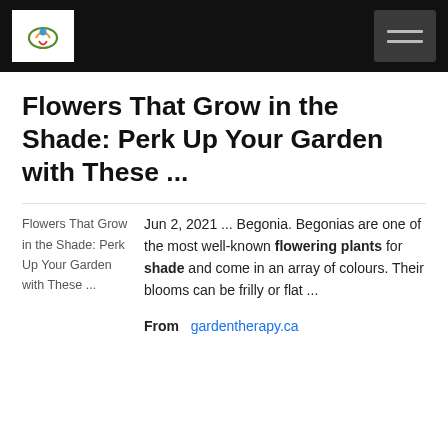Navigation bar with logo and hamburger menu
Flowers That Grow in the Shade: Perk Up Your Garden with These ...
Jun 2, 2021 ... Begonia. Begonias are one of the most well-known flowering plants for shade and come in an array of colours. Their blooms can be frilly or flat ...
From   gardentherapy.ca